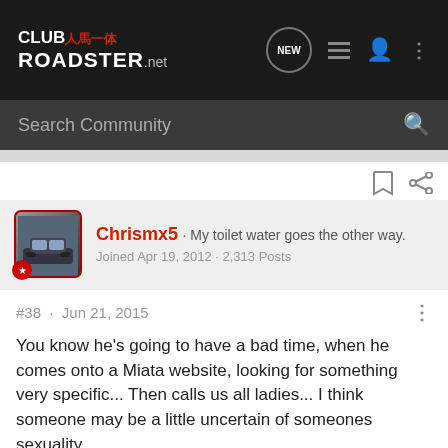CLUB人馬一体 ROADSTER.net
Search Community
Chrismx5 · My toilet water goes the other way.
Joined Apr 19, 2012 · 2,313 Posts
#38 · Jun 21, 2015
You know he's going to have a bad time, when he comes onto a Miata website, looking for something very specific... Then calls us all ladies... I think someone may be a little uncertain of someones sexuality..
Insta @chriscstreet